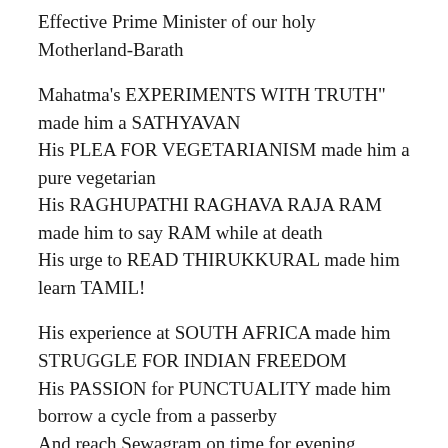Effective Prime Minister of our holy Motherland-Barath
Mahatma's EXPERIMENTS WITH TRUTH" made him a SATHYAVAN
His PLEA FOR VEGETARIANISM made him a pure vegetarian
His RAGHUPATHI RAGHAVA RAJA RAM made him to say RAM while at death
His urge to READ THIRUKKURAL made him learn TAMIL!
His experience at SOUTH AFRICA made him STRUGGLE FOR INDIAN FREEDOM
His PASSION for PUNCTUALITY made him borrow a cycle from a passerby
And reach Sewagram on time for evening prayer-his regular habit.